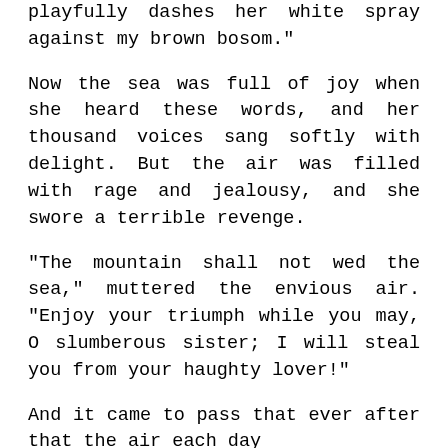playfully dashes her white spray against my brown bosom."
Now the sea was full of joy when she heard these words, and her thousand voices sang softly with delight. But the air was filled with rage and jealousy, and she swore a terrible revenge.
"The mountain shall not wed the sea," muttered the envious air. "Enjoy your triumph while you may, O slumberous sister; I will steal you from your haughty lover!"
And it came to pass that ever after that the air each day